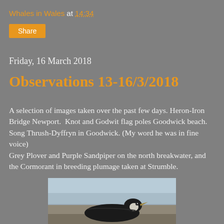Whales in Wales at 14:34
Share
Friday, 16 March 2018
Observations 13-16/3/2018
A selection of images taken over the past few days. Heron-Iron Bridge Newport.  Knot and Godwit flag poles Goodwick beach. Song Thrush-Dyffryn in Goodwick. (My word he was in fine voice)
Grey Plover and Purple Sandpiper on the north breakwater, and the Cormorant in breeding plumage taken at Strumble.
[Figure (photo): A bird (appears to be a cormorant or similar seabird) photographed at the water's edge, partially cropped at bottom of page.]